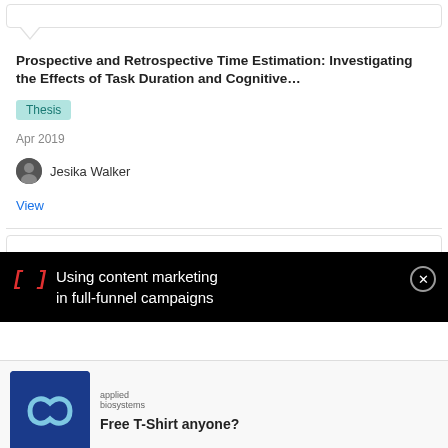(partial truncated text at top)
Prospective and Retrospective Time Estimation: Investigating the Effects of Task Duration and Cognitive…
Thesis
Apr 2019
Jesika Walker
View
[Figure (screenshot): Advertisement overlay on black background: bracket icon '[J]' in red, text 'Using content marketing in full-funnel campaigns' in white, with close button]
[Figure (illustration): Bottom ad card: Applied Biosystems logo with infinity symbol on blue background, text 'Free T-Shirt anyone?']